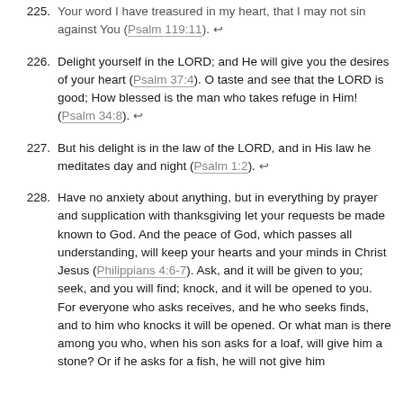225. Your word I have treasured in my heart, that I may not sin against You (Psalm 119:11). ↩
226. Delight yourself in the LORD; and He will give you the desires of your heart (Psalm 37:4). O taste and see that the LORD is good; How blessed is the man who takes refuge in Him! (Psalm 34:8). ↩
227. But his delight is in the law of the LORD, and in His law he meditates day and night (Psalm 1:2). ↩
228. Have no anxiety about anything, but in everything by prayer and supplication with thanksgiving let your requests be made known to God. And the peace of God, which passes all understanding, will keep your hearts and your minds in Christ Jesus (Philippians 4:6-7). Ask, and it will be given to you; seek, and you will find; knock, and it will be opened to you. For everyone who asks receives, and he who seeks finds, and to him who knocks it will be opened. Or what man is there among you who, when his son asks for a loaf, will give him a stone? Or if he asks for a fish, he will not give him